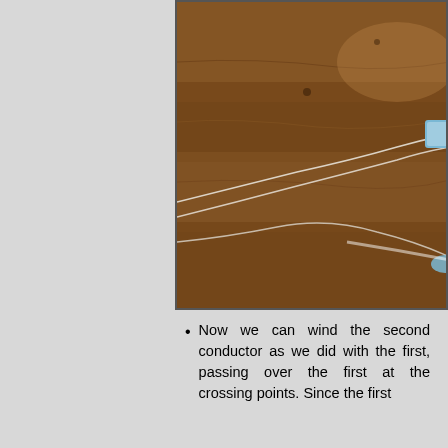[Figure (photo): Close-up photo of thin white wires/conductors laid across a brown wooden surface, with a light blue component visible on the right side. Two wires cross over each other diagonally.]
Now we can wind the second conductor as we did with the first, passing over the first at the crossing points. Since the first